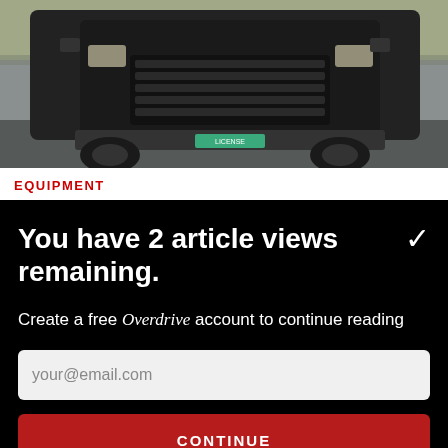[Figure (photo): Close-up photo of a large black semi-truck cab front, shot from a low angle at a racetrack or parking area. A green license plate is visible on the bumper. The background shows a racetrack environment.]
EQUIPMENT
You have 2 article views remaining.
Create a free Overdrive account to continue reading
your@email.com
CONTINUE